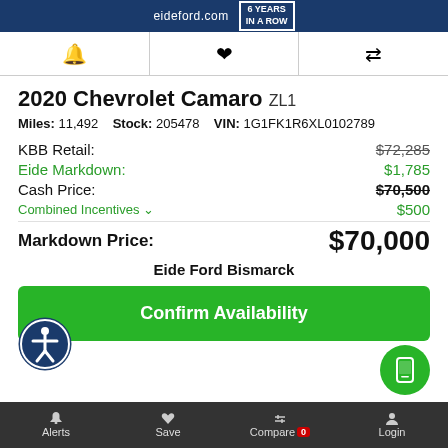eideford.com  6 YEARS IN A ROW
2020 Chevrolet Camaro ZL1
Miles: 11,492  Stock: 205478  VIN: 1G1FK1R6XL0102789
| Label | Value |
| --- | --- |
| KBB Retail: | $72,285 |
| Eide Markdown: | $1,785 |
| Cash Price: | $70,500 |
| Combined Incentives | $500 |
| Markdown Price: | $70,000 |
Eide Ford Bismarck
Confirm Availability
Alerts  Save  Compare 0  Login